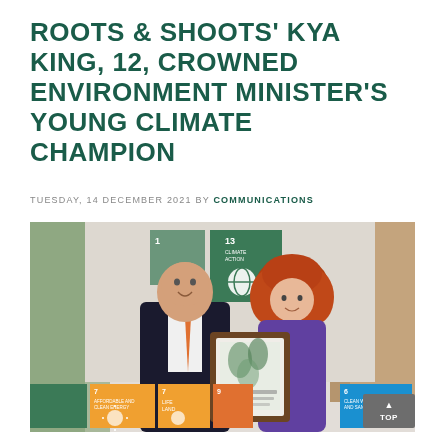ROOTS & SHOOTS' KYA KING, 12, CROWNED ENVIRONMENT MINISTER'S YOUNG CLIMATE CHAMPION
TUESDAY, 14 DECEMBER 2021 BY COMMUNICATIONS
[Figure (photo): A man in a dark suit with an orange tie stands beside a young girl with curly red hair who holds a framed award certificate. Behind them are green and orange SDG goal placards including Goal 13 Climate Action and Goal 6 Clean Water and Sanitation.]